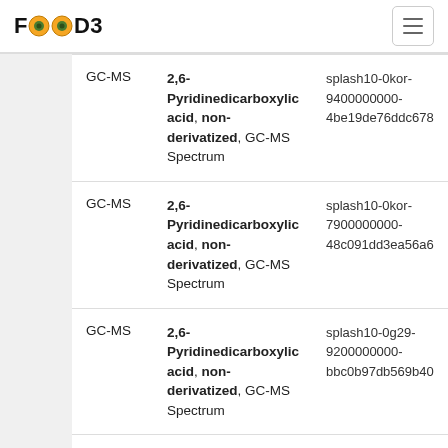FOODB
| Type | Name | Splash |
| --- | --- | --- |
| GC-MS | 2,6-Pyridinedicarboxylic acid, non-derivatized, GC-MS Spectrum | splash10-0kor-9400000000-4be19de76ddc678... |
| GC-MS | 2,6-Pyridinedicarboxylic acid, non-derivatized, GC-MS Spectrum | splash10-0kor-7900000000-48c091dd3ea56a6... |
| GC-MS | 2,6-Pyridinedicarboxylic acid, non-derivatized, GC-MS Spectrum | splash10-0g29-9200000000-bbc0b97db569b40... |
| GC-MS | 2,6-Pyridinedicarboxylic acid, non-derivatized, GC-MS Spectrum | splash10-0002-1950000000-1221ab338705f50... |